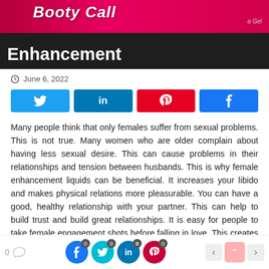[Figure (screenshot): Hero image with dark background, pink/red banner at top with stylized 'BOOTY Call' text, and large white bold 'Enhancement' text below]
June 6, 2022
[Figure (infographic): Row of four social share buttons: Twitter (light blue), LinkedIn (dark blue), Pinterest (red), Facebook (blue)]
Many people think that only females suffer from sexual problems. This is not true. Many women who are older complain about having less sexual desire. This can cause problems in their relationships and tension between husbands. This is why female enhancement liquids can be beneficial. It increases your libido and makes physical relations more pleasurable. You can have a good, healthy relationship with your partner. This can help to build trust and build great relationships. It is easy for people to take female engagement shots before falling in love. This creates enthusiasm for you
0  [comment icon]  [Facebook 0] [Twitter 0] [LinkedIn 0] [Pinterest 0]  < ^ >